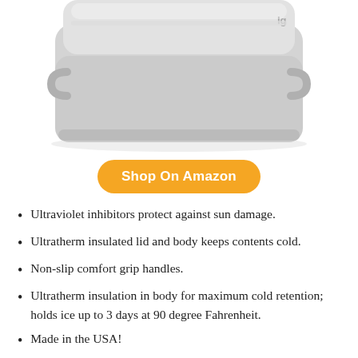[Figure (photo): Product photo of a light gray/white Igloo cooler, showing the top and front portion of the cooler against a white background.]
Shop On Amazon
Ultraviolet inhibitors protect against sun damage.
Ultratherm insulated lid and body keeps contents cold.
Non-slip comfort grip handles.
Ultratherm insulation in body for maximum cold retention; holds ice up to 3 days at 90 degree Fahrenheit.
Made in the USA!